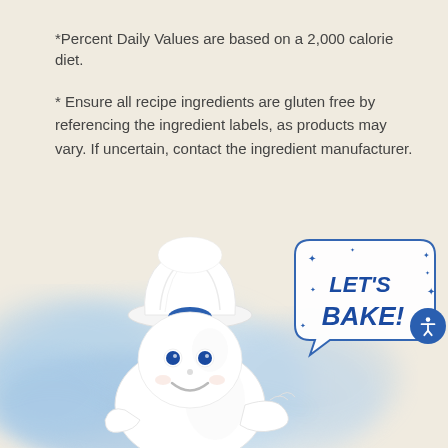*Percent Daily Values are based on a 2,000 calorie diet.
* Ensure all recipe ingredients are gluten free by referencing the ingredient labels, as products may vary. If uncertain, contact the ingredient manufacturer.
[Figure (illustration): Pillsbury Doughboy mascot figure wearing a white chef hat with a 'Pillsbury' badge, smiling and gesturing with one hand, with a speech bubble saying 'LET'S BAKE!' decorated with blue stars. Blue watercolor splash background behind the figure. Accessibility icon button on the right side.]